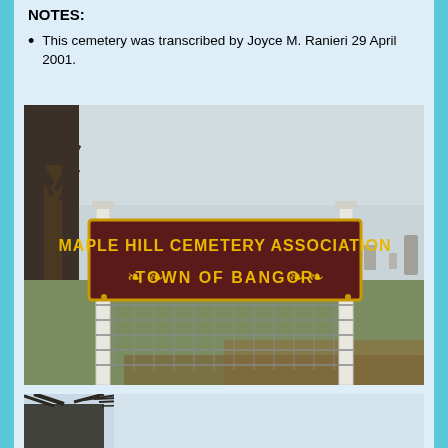NOTES:
This cemetery was transcribed by Joyce M. Ranieri 29 April 2001.
[Figure (photo): Photograph of the Maple Hill Cemetery Association sign at the entrance, with white posts, wire fence, and cemetery grounds with gravestones in the background. Sign reads: MAPLE HILL CEMETERY ASSOCIATION TOWN OF BANGOR with maple leaf decorations.]
[Figure (photo): Partial photograph of bare winter trees against a light sky, bottom of page.]